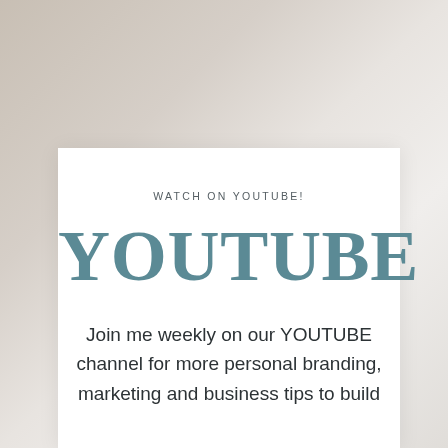[Figure (photo): Blurred beige and warm grey background with soft studio lighting, suggesting a neutral lifestyle or branding photography backdrop.]
WATCH ON YOUTUBE!
YOUTUBE
Join me weekly on our YOUTUBE channel for more personal branding, marketing and business tips to build